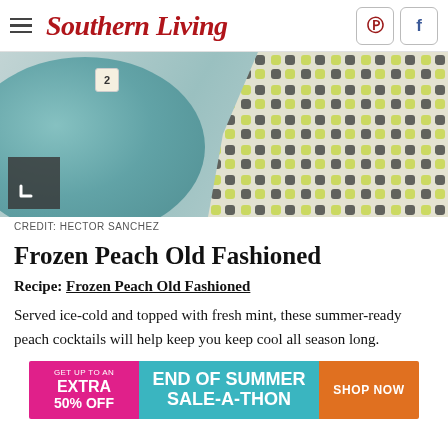Southern Living
[Figure (photo): Photo of a teal plate with dice and a colorful patterned fabric/napkin on a light surface. Credit: Hector Sanchez]
CREDIT: HECTOR SANCHEZ
Frozen Peach Old Fashioned
Recipe: Frozen Peach Old Fashioned
Served ice-cold and topped with fresh mint, these summer-ready peach cocktails will help keep you keep cool all season long.
[Figure (other): Advertisement banner: GET UP TO AN EXTRA 50% OFF | END OF SUMMER SALE-A-THON | SHOP NOW]